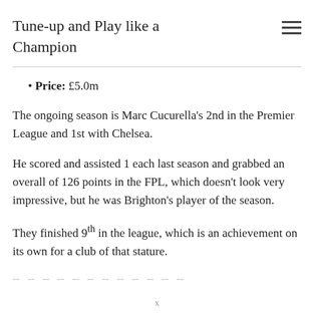Tune-up and Play like a Champion
Price: £5.0m
The ongoing season is Marc Cucurella's 2nd in the Premier League and 1st with Chelsea.
He scored and assisted 1 each last season and grabbed an overall of 126 points in the FPL, which doesn't look very impressive, but he was Brighton's player of the season.
They finished 9th in the league, which is an achievement on its own for a club of that stature.
-- -- -- -- -- -- -- -- -- -- -- --
x